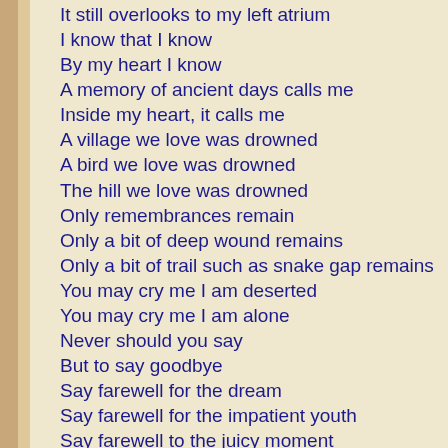It still overlooks to my left atrium
I know that I know
By my heart I know
A memory of ancient days calls me
Inside my heart, it calls me
A village we love was drowned
A bird we love was drowned
The hill we love was drowned
Only remembrances remain
Only a bit of deep wound remains
Only a bit of trail such as snake gap remains
You may cry me I am deserted
You may cry me I am alone
Never should you say
But to say goodbye
Say farewell for the dream
Say farewell for the impatient youth
Say farewell to the juicy moment
Say farewell to poor beloved heart
****

Are you alive or dead?
Are you from sold metal made?